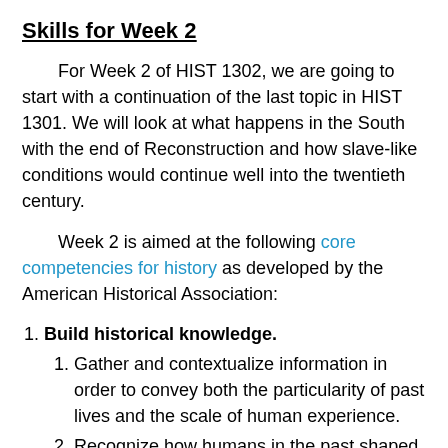Skills for Week 2
For Week 2 of HIST 1302, we are going to start with a continuation of the last topic in HIST 1301. We will look at what happens in the South with the end of Reconstruction and how slave-like conditions would continue well into the twentieth century.
Week 2 is aimed at the following core competencies for history as developed by the American Historical Association:
Build historical knowledge.
Gather and contextualize information in order to convey both the particularity of past lives and the scale of human experience.
Recognize how humans in the past shaped their